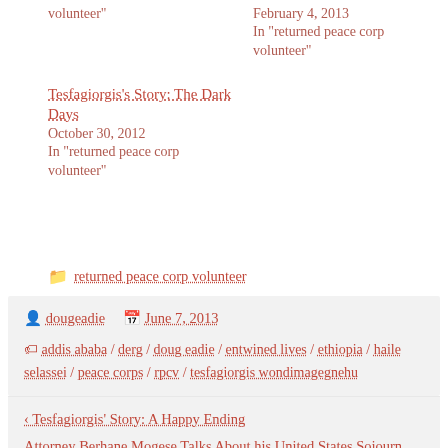volunteer"
February 4, 2013
In "returned peace corp volunteer"
Tesfagiorgis's Story: The Dark Days
October 30, 2012
In "returned peace corp volunteer"
returned peace corp volunteer
dougeadie   June 7, 2013
addis ababa / derg / doug eadie / entwined lives / ethiopia / haile selassei / peace corps / rpcv / tesfagiorgis wondimagegnehu
< Tesfagiorgis' Story: A Happy Ending
Attorney Berhane Mogese Talks About his United States Sojourn >